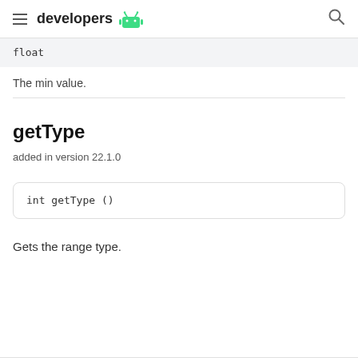developers
float
The min value.
getType
added in version 22.1.0
int getType ()
Gets the range type.